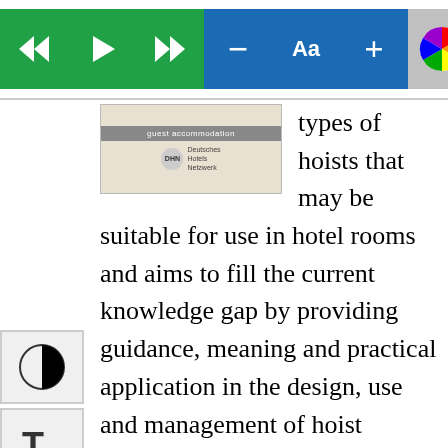[Figure (screenshot): Toolbar with navigation buttons (rewind, play, fast-forward in green), minus and font size buttons in blue, plus button in blue, color wheel icon, flags icon (UK, Germany, France), more button, and X close button in red.]
[Figure (photo): Image of guest accommodation document/brochure with DHN logo and folded white fabric in background.]
types of hoists that may be suitable for use in hotel rooms and aims to fill the current knowledge gap by providing guidance, meaning and practical application in the design, use and management of hoist systems. It is hoped that hoteliers will use this as guidance when endeavouring to meet their duties under the Equality Act and in doing so improve the quality of their service by providing